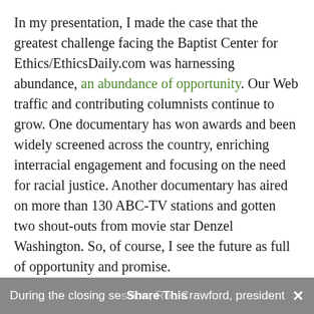In my presentation, I made the case that the greatest challenge facing the Baptist Center for Ethics/EthicsDaily.com was harnessing abundance, an abundance of opportunity. Our Web traffic and contributing columnists continue to grow. One documentary has won awards and been widely screened across the country, enriching interracial engagement and focusing on the need for racial justice. Another documentary has aired on more than 130 ABC-TV stations and gotten two shout-outs from movie star Denzel Washington. So, of course, I see the future as full of opportunity and promise.
During the closing session, Rob Crawford, president  Share This  ×